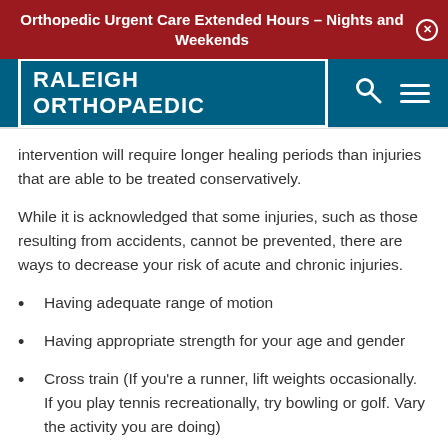Orthopedic Urgent Care Extended Hours – Nights and Weekends
[Figure (logo): Raleigh Orthopaedic logo with search and menu icons on dark teal navigation bar]
intervention will require longer healing periods than injuries that are able to be treated conservatively.
While it is acknowledged that some injuries, such as those resulting from accidents, cannot be prevented, there are ways to decrease your risk of acute and chronic injuries.
Having adequate range of motion
Having appropriate strength for your age and gender
Cross train (If you're a runner, lift weights occasionally. If you play tennis recreationally, try bowling or golf. Vary the activity you are doing)
Dress properly for your activity (proper shoes)